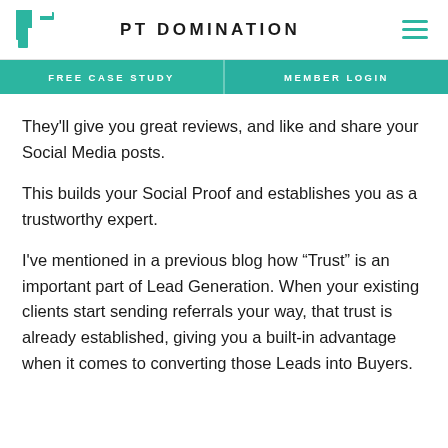PT DOMINATION
FREE CASE STUDY   MEMBER LOGIN
They'll give you great reviews, and like and share your Social Media posts.
This builds your Social Proof and establishes you as a trustworthy expert.
I've mentioned in a previous blog how “Trust” is an important part of Lead Generation. When your existing clients start sending referrals your way, that trust is already established, giving you a built-in advantage when it comes to converting those Leads into Buyers.